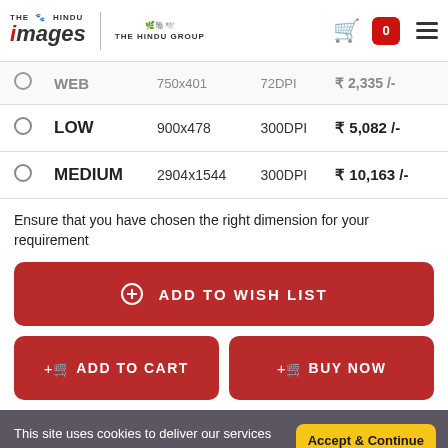The Hindu Images | The Hindu Group
|  | Type | Dimensions | DPI | Price |
| --- | --- | --- | --- | --- |
| ○ | WEB | 750x401 | 72DPI | ₹2,335 /- |
| ○ | LOW | 900x478 | 300DPI | ₹5,082 /- |
| ○ | MEDIUM | 2904x1544 | 300DPI | ₹10,163 /- |
Ensure that you have chosen the right dimension for your requirement
ADD TO WISH LIST
ADD TO CART
BUY NOW
This site uses cookies to deliver our services and to show you relevant images and contents. By using our site, you acknowledge that you have read and understood our Privacy Policy and our Terms & Conditions. Your use of The Hindu Images, is subject to these policies and terms. More info